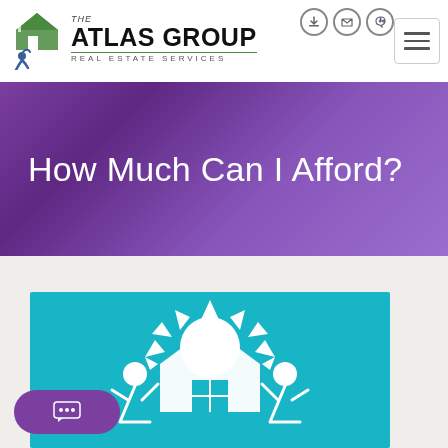[Figure (logo): The Atlas Group Real Estate Services logo with house icon and person figure]
How Much Can I Afford?
[Figure (illustration): Teal background illustration showing silhouette figures holding up a house with sun rays, representing home ownership/affordability concept]